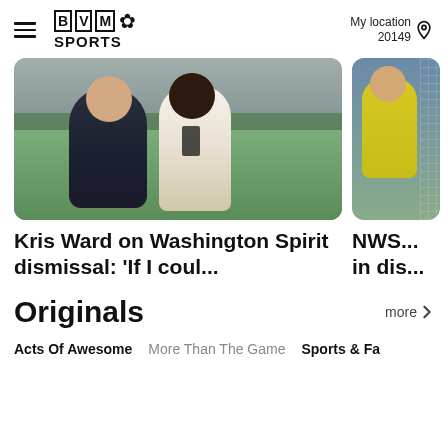BVM Sports — My location 20149
[Figure (photo): Two people standing on a soccer field — a man in a black 'Female Athlete' t-shirt and a woman in a white blazer with a colorful skirt, with stadium seating in the background]
[Figure (photo): Partial view of a soccer goalkeeper in yellow jersey near the goal]
Kris Ward on Washington Spirit dismissal: 'If I coul...
NWS... in dis...
Originals
Acts Of Awesome
More Than The Game
Sports & Fa